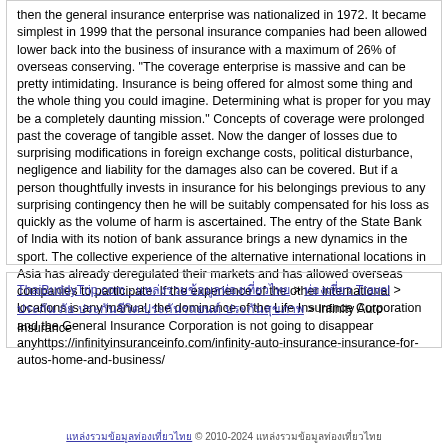then the general insurance enterprise was nationalized in 1972. It became simplest in 1999 that the personal insurance companies had been allowed lower back into the business of insurance with a maximum of 26% of overseas conserving. "The coverage enterprise is massive and can be pretty intimidating. Insurance is being offered for almost some thing and the whole thing you could imagine. Determining what is proper for you may be a completely daunting mission." Concepts of coverage were prolonged past the coverage of tangible asset. Now the danger of losses due to surprising modifications in foreign exchange costs, political disturbance, negligence and liability for the damages also can be covered. But if a person thoughtfully invests in insurance for his belongings previous to any surprising contingency then he will be suitably compensated for his loss as quickly as the volume of harm is ascertained. The entry of the State Bank of India with its notion of bank assurance brings a new dynamics in the sport. The collective experience of the alternative international locations in Asia has already deregulated their markets and has allowed overseas companies to participate. If the experience of the other international locations is any manual, the dominance of the Life Insurance Corporation and the General Insurance Corporation is not going to disappear anyhttps://infinityinsuranceinfo.com/infinity-auto-insurance-insurance-for-autos-home-and-business/
ThaiBuddyTrip.com - แหล่งรวมข้อมูลท่องเที่ยวไทย > ท่องเที่ยว Travel > ประกันภัย ประกันชีวิต ประกันรถยนต์ ประกันสุขภาพ > Infinity Auto Insurance
แหล่งรวมข้อมูลท่องเที่ยวไทย © 2010-2024